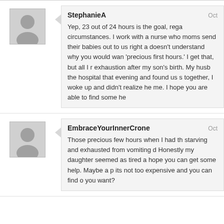StephanieA — Oct
Yep, 23 out of 24 hours is the goal, rega circumstances. I work with a nurse who moms send their babies out to us right a doesn't understand why you would wan 'precious first hours.' I get that, but all I r exhaustion after my son's birth. My husb the hospital that evening and found us s together, I woke up and didn't realize he me. I hope you are able to find some he
EmbraceYourInnerCrone — Oct
Those precious few hours when I had th starving and exhausted from vomiting d Honestly my daughter seemed as tired a hope you can get some help. Maybe a p its not too expensive and you can find o you want?